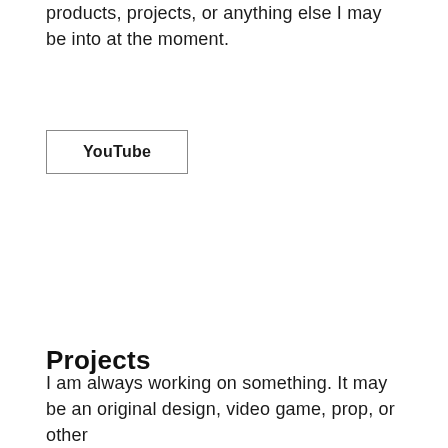products, projects, or anything else I may be into at the moment.
YouTube
Projects
I am always working on something. It may be an original design, video game, prop, or other